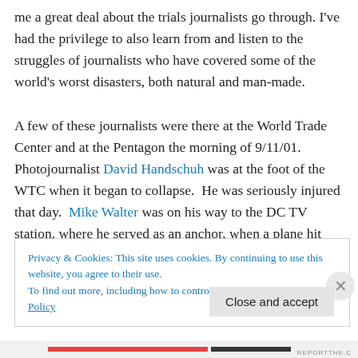me a great deal about the trials journalists go through. I've had the privilege to also learn from and listen to the struggles of journalists who have covered some of the world's worst disasters, both natural and man-made.

A few of these journalists were there at the World Trade Center and at the Pentagon the morning of 9/11/01. Photojournalist David Handschuh was at the foot of the WTC when it began to collapse.  He was seriously injured that day.  Mike Walter was on his way to the DC TV station, where he served as an anchor, when a plane hit
Privacy & Cookies: This site uses cookies. By continuing to use this website, you agree to their use.
To find out more, including how to control cookies, see here: Cookie Policy
Close and accept